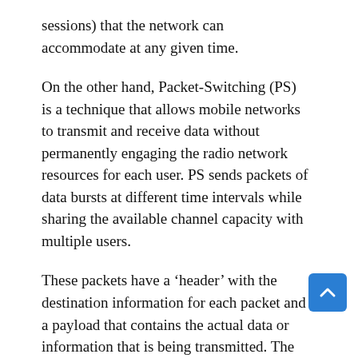sessions) that the network can accommodate at any given time.
On the other hand, Packet-Switching (PS) is a technique that allows mobile networks to transmit and receive data without permanently engaging the radio network resources for each user. PS sends packets of data bursts at different time intervals while sharing the available channel capacity with multiple users.
These packets have a ‘header’ with the destination information for each packet and a payload that contains the actual data or information that is being transmitted. The switching nodes use these headers to determine the source and destination of the packets so that the data packets can be directed to the desired subscribers (devices) using the best possible route.